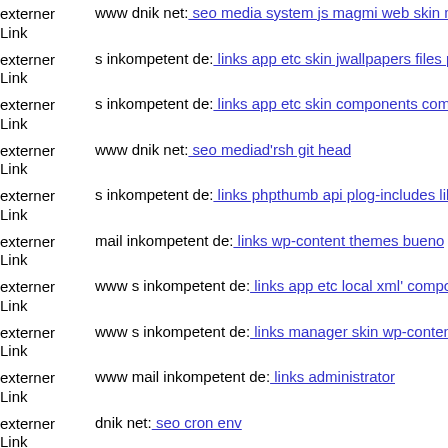externer Link  www dnik net: seo media system js magmi web skin media
externer Link  s inkompetent de: links app etc skin jwallpapers files pluplo
externer Link  s inkompetent de: links app etc skin components com b2jco
externer Link  www dnik net: seo mediad'rsh git head
externer Link  s inkompetent de: links phpthumb api plog-includes lib php
externer Link  mail inkompetent de: links wp-content themes bueno
externer Link  www s inkompetent de: links app etc local xml' components
externer Link  www s inkompetent de: links manager skin wp-content ther
externer Link  www mail inkompetent de: links administrator
externer Link  dnik net: seo cron env
externer Link  s inkompetent de: links phpthumb api admin components'cx
externer Link  ...